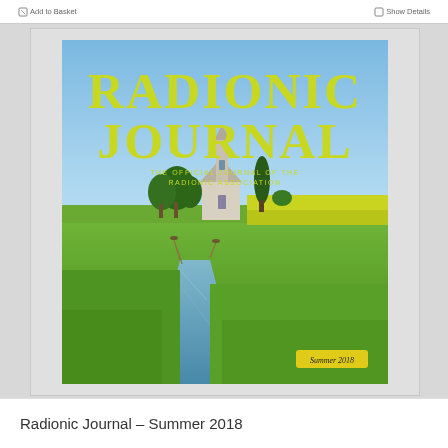[Figure (photo): Cover of the Radionic Journal Summer 2018 issue. The cover features large yellow-green bold text reading 'RADIONIC JOURNAL' at the top, with subtitle 'THE OFFICIAL JOURNAL OF THE RADIONIC ASSOCIATION'. Below is a photograph of a rural English landscape with a church surrounded by trees in green fields under a blue sky, with a drainage ditch/water channel running through the foreground. A yellow badge in the lower right reads 'Summer 2018'.]
Radionic Journal – Summer 2018